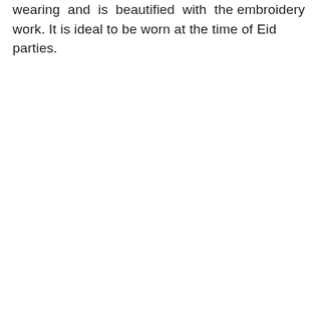wearing and is beautified with the embroidery work. It is ideal to be worn at the time of Eid parties.